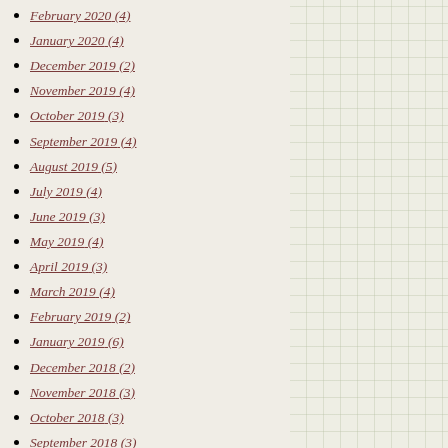February 2020 (4)
January 2020 (4)
December 2019 (2)
November 2019 (4)
October 2019 (3)
September 2019 (4)
August 2019 (5)
July 2019 (4)
June 2019 (3)
May 2019 (4)
April 2019 (3)
March 2019 (4)
February 2019 (2)
January 2019 (6)
December 2018 (2)
November 2018 (3)
October 2018 (3)
September 2018 (3)
August 2018 (1)
July 2018 (4)
June 2018 (4)
May 2018 (3)
April 2018 (4)
March 2018 (4)
February 2018 (4)